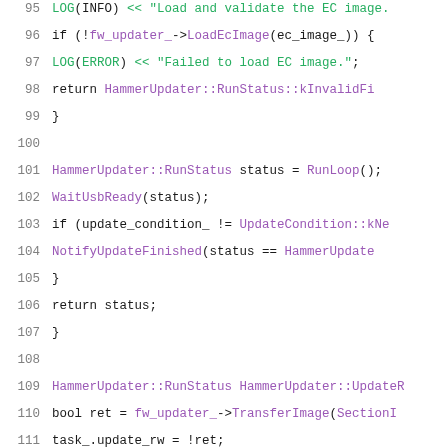[Figure (screenshot): Source code listing showing C++ code for HammerUpdater class methods, lines 95-116. The code involves loading EC images, running update loops, and transferring firmware images. Syntax highlighting uses purple for types/function names and green for strings/macros.]